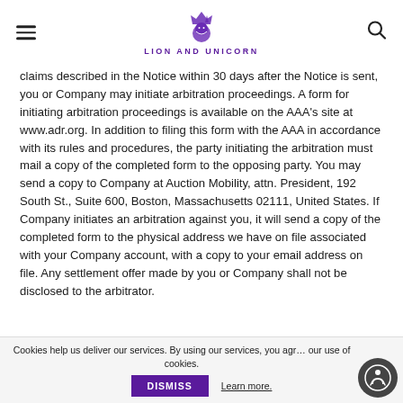LION AND UNICORN
claims described in the Notice within 30 days after the Notice is sent, you or Company may initiate arbitration proceedings. A form for initiating arbitration proceedings is available on the AAA's site at www.adr.org. In addition to filing this form with the AAA in accordance with its rules and procedures, the party initiating the arbitration must mail a copy of the completed form to the opposing party. You may send a copy to Company at Auction Mobility, attn. President, 192 South St., Suite 600, Boston, Massachusetts 02111, United States. If Company initiates an arbitration against you, it will send a copy of the completed form to the physical address we have on file associated with your Company account, with a copy to your email address on file. Any settlement offer made by you or Company shall not be disclosed to the arbitrator.
Cookies help us deliver our services. By using our services, you agree to our use of cookies.